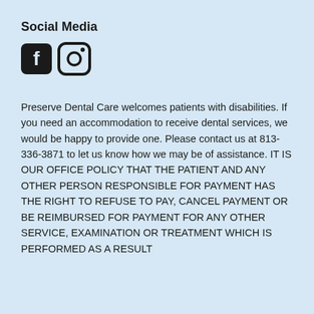Social Media
[Figure (other): Facebook and Instagram social media icons]
Preserve Dental Care welcomes patients with disabilities. If you need an accommodation to receive dental services, we would be happy to provide one. Please contact us at 813-336-3871 to let us know how we may be of assistance. IT IS OUR OFFICE POLICY THAT THE PATIENT AND ANY OTHER PERSON RESPONSIBLE FOR PAYMENT HAS THE RIGHT TO REFUSE TO PAY, CANCEL PAYMENT OR BE REIMBURSED FOR PAYMENT FOR ANY OTHER SERVICE, EXAMINATION OR TREATMENT WHICH IS PERFORMED AS A RESULT